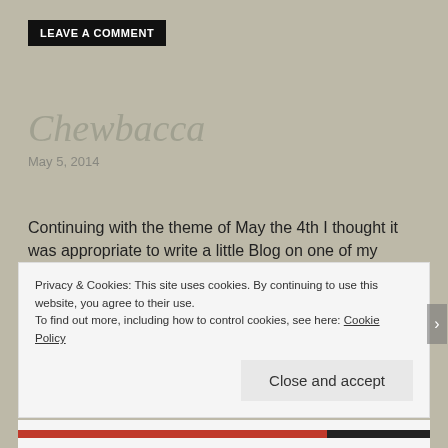LEAVE A COMMENT
Chewbacca
May 5, 2014
Continuing with the theme of May the 4th I thought it was appropriate to write a little Blog on one of my favourite characters from Star Wars…Chewbacca!
Chewbacca (also known as Chewie) is most well known
Privacy & Cookies: This site uses cookies. By continuing to use this website, you agree to their use.
To find out more, including how to control cookies, see here: Cookie Policy
Close and accept